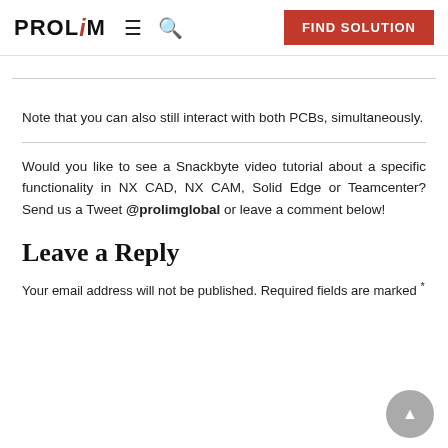PROLIM   ≡   🔍   FIND SOLUTION
Note that you can also still interact with both PCBs, simultaneously.
Would you like to see a Snackbyte video tutorial about a specific functionality in NX CAD, NX CAM, Solid Edge or Teamcenter? Send us a Tweet @prolimglobal or leave a comment below!
Leave a Reply
Your email address will not be published. Required fields are marked *